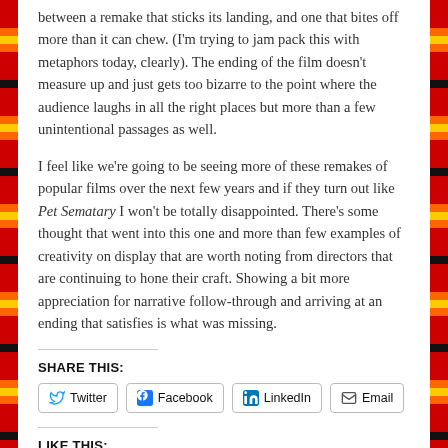between a remake that sticks its landing, and one that bites off more than it can chew. (I'm trying to jam pack this with metaphors today, clearly). The ending of the film doesn't measure up and just gets too bizarre to the point where the audience laughs in all the right places but more than a few unintentional passages as well.
I feel like we're going to be seeing more of these remakes of popular films over the next few years and if they turn out like Pet Sematary I won't be totally disappointed. There's some thought that went into this one and more than few examples of creativity on display that are worth noting from directors that are continuing to hone their craft. Showing a bit more appreciation for narrative follow-through and arriving at an ending that satisfies is what was missing.
SHARE THIS:
Twitter | Facebook | LinkedIn | Email
LIKE THIS: